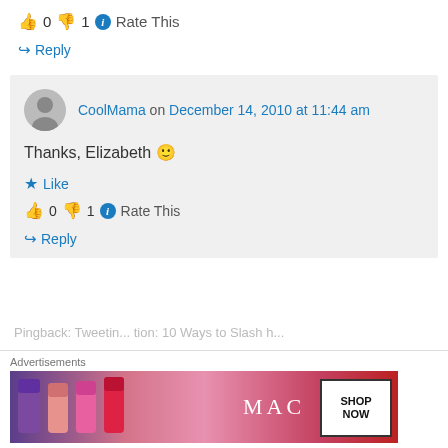👍 0 👎 1 ℹ Rate This
↪ Reply
CoolMama on December 14, 2010 at 11:44 am
Thanks, Elizabeth 🙂
★ Like
👍 0 👎 1 ℹ Rate This
↪ Reply
Pingback: Tweetin...
Advertisements
[Figure (other): MAC cosmetics advertisement banner showing lipsticks with SHOP NOW button]